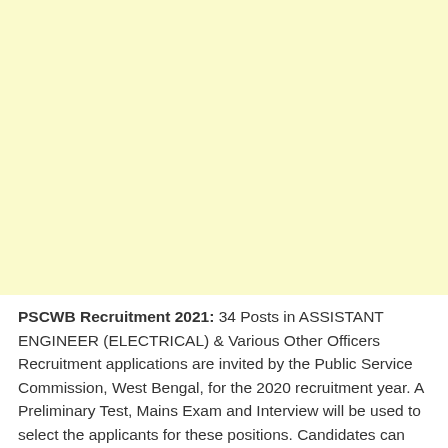[Figure (other): Large yellow/cream colored blank rectangle occupying the top portion of the page]
PSCWB Recruitment 2021: 34 Posts in ASSISTANT ENGINEER (ELECTRICAL) & Various Other Officers Recruitment applications are invited by the Public Service Commission, West Bengal, for the 2020 recruitment year. A Preliminary Test, Mains Exam and Interview will be used to select the applicants for these positions. Candidates can apply online before 01/02/2021 for this recruitment period.